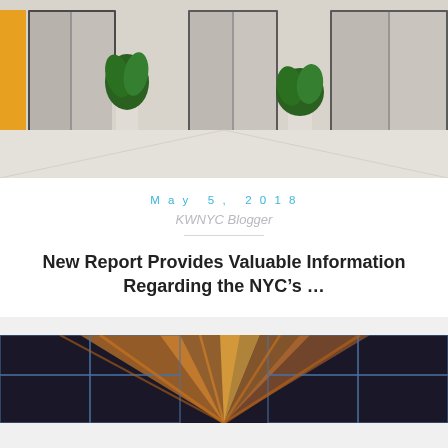[Figure (photo): Building lobby interior with elevator doors and decorative potted plants]
May 5, 2018
KWNYC Blogger
New Report Provides Valuable Information Regarding the NYC’s …
[Figure (photo): Interior architectural view of a ceiling with glass panels and geometric structure]